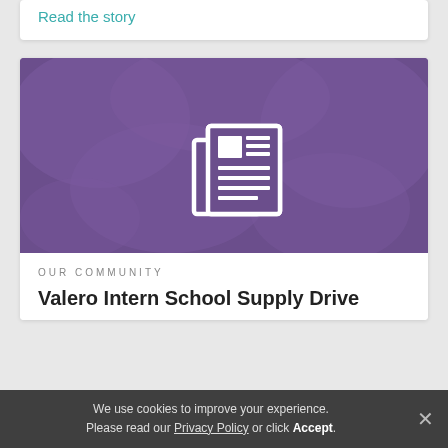Read the story
[Figure (illustration): Purple banner with world map silhouette background and a white newspaper/document icon centered]
OUR COMMUNITY
Valero Intern School Supply Drive
We use cookies to improve your experience. Please read our Privacy Policy or click Accept.